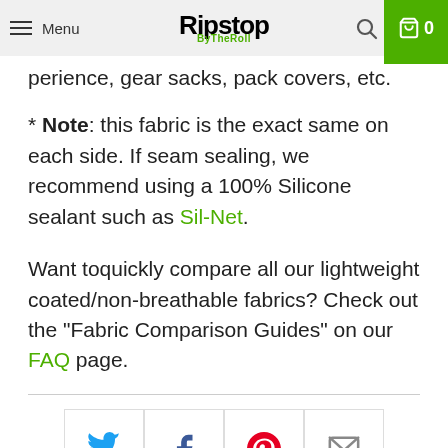Menu | Ripstop ByTheRoll | 0
perience, gear sacks, pack covers, etc.
* Note: this fabric is the exact same on each side. If seam sealing, we recommend using a 100% Silicone sealant such as Sil-Net.
Want toquickly compare all our lightweight coated/non-breathable fabrics? Check out the "Fabric Comparison Guides" on our FAQ page.
[Figure (other): Social share buttons: Twitter, Facebook, Pinterest, Email]